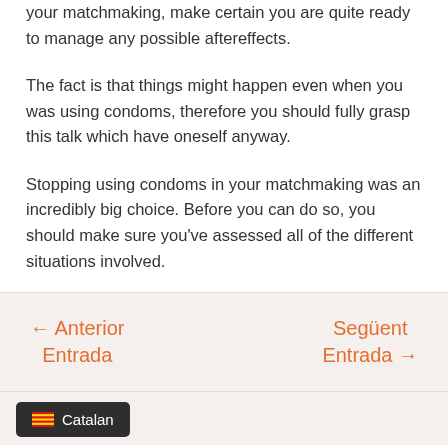your matchmaking, make certain you are quite ready to manage any possible aftereffects.
The fact is that things might happen even when you was using condoms, therefore you should fully grasp this talk which have oneself anyway.
Stopping using condoms in your matchmaking was an incredibly big choice. Before you can do so, you should make sure you've assessed all of the different situations involved.
← Anterior Entrada    Següent Entrada →
Catalan